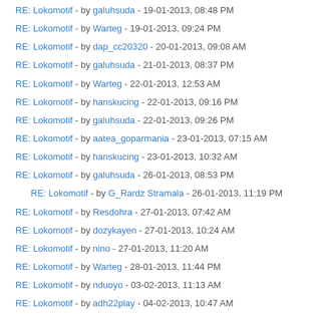RE: Lokomotif - by galuhsuda - 19-01-2013, 08:48 PM
RE: Lokomotif - by Warteg - 19-01-2013, 09:24 PM
RE: Lokomotif - by dap_cc20320 - 20-01-2013, 09:08 AM
RE: Lokomotif - by galuhsuda - 21-01-2013, 08:37 PM
RE: Lokomotif - by Warteg - 22-01-2013, 12:53 AM
RE: Lokomotif - by hanskucing - 22-01-2013, 09:16 PM
RE: Lokomotif - by galuhsuda - 22-01-2013, 09:26 PM
RE: Lokomotif - by aatea_goparmania - 23-01-2013, 07:15 AM
RE: Lokomotif - by hanskucing - 23-01-2013, 10:32 AM
RE: Lokomotif - by galuhsuda - 26-01-2013, 08:53 PM
RE: Lokomotif - by G_Rardz Stramala - 26-01-2013, 11:19 PM
RE: Lokomotif - by Resdohra - 27-01-2013, 07:42 AM
RE: Lokomotif - by dozykayen - 27-01-2013, 10:24 AM
RE: Lokomotif - by nino - 27-01-2013, 11:20 AM
RE: Lokomotif - by Warteg - 28-01-2013, 11:44 PM
RE: Lokomotif - by nduoyo - 03-02-2013, 11:13 AM
RE: Lokomotif - by adh22play - 04-02-2013, 10:47 AM
RE: Lokomotif - by fajar_cc20413 - 05-02-2013, 07:11 PM
RE: Lokomotif - by galuhsuda - 05-02-2013, 08:00 PM
RE: Lokomotif - by galuhsuda - 06-02-2013, 06:42 PM
RE: Lokomotif - by Warteg - 07-02-2013, 05:36 PM
RE: Lokomotif - by galuhsuda - 08-02-2013, 11:35 PM
RE: Lokomotif - by kvintaviari - 13-02-2013, 02:48 PM
RE: Lokomotif - by Warteg - 13-02-2013, 11:55 PM
RE: Lokomotif - by indra_Mri - 16-02-2013, 04:39 PM